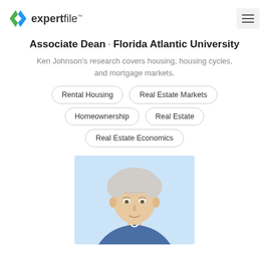expertfile™ [hamburger menu]
Associate Dean · Florida Atlantic University
Ken Johnson's research covers housing, housing cycles, and mortgage markets.
Rental Housing
Real Estate Markets
Homeownership
Real Estate
Real Estate Economics
[Figure (photo): Headshot photo of Ken Johnson, an older man with white/grey hair, against a light blue background]